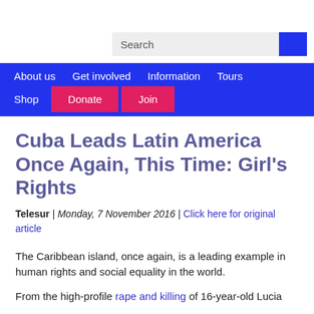Search
About us | Get involved | Information | Tours | Shop | Donate | Join
Cuba Leads Latin America Once Again, This Time: Girl's Rights
Telesur | Monday, 7 November 2016 | Click here for original article
The Caribbean island, once again, is a leading example in human rights and social equality in the world.
From the high-profile rape and killing of 16-year-old Lucia